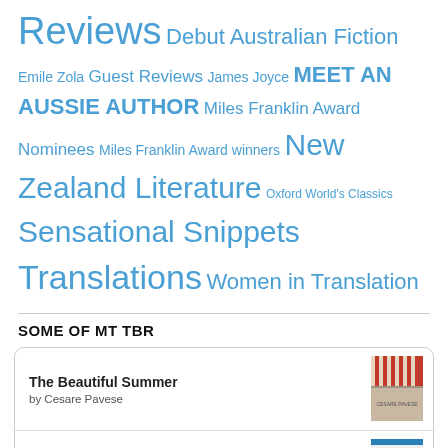Reviews Debut Australian Fiction Emile Zola Guest Reviews James Joyce MEET AN AUSSIE AUTHOR Miles Franklin Award Nominees Miles Franklin Award winners New Zealand Literature Oxford World's Classics Sensational Snippets Translations Women in Translation
SOME OF MT TBR
The Beautiful Summer
by Cesare Pavese
Three Summers
by Margarita Liberaki
Women
by Mihail Sebastian